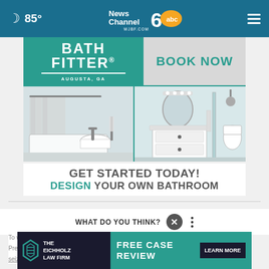85° NewsChannel 6 abc WJBF.COM
[Figure (screenshot): Bath Fitter advertisement banner. Left side: teal background with white text BATH FITTER® AUGUSTA, GA. Right side: gray background with teal text BOOK NOW. Below: two bathroom photos showing a tub/shower and a walk-in shower with vanity.]
GET STARTED TODAY! DESIGN YOUR OWN BATHROOM
WHAT DO YOU THINK?
To wh... Presid... seizure of government documents from his home of Mar-a-
[Figure (screenshot): The Eichholz Law Firm advertisement. Dark background with logo on left, teal section on right reading FREE CASE REVIEW with LEARN MORE button.]